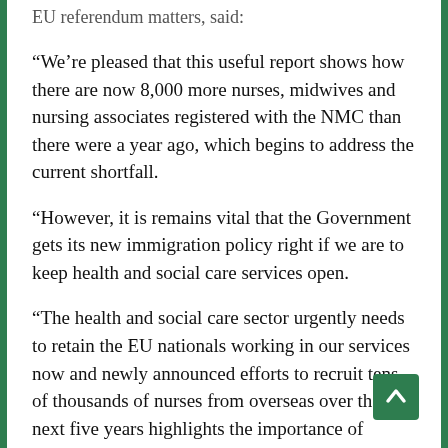EU referendum matters, said:
“We’re pleased that this useful report shows how there are now 8,000 more nurses, midwives and nursing associates registered with the NMC than there were a year ago, which begins to address the current shortfall.
“However, it is remains vital that the Government gets its new immigration policy right if we are to keep health and social care services open.
“The health and social care sector urgently needs to retain the EU nationals working in our services now and newly announced efforts to recruit tens of thousands of nurses from overseas over the next five years highlights the importance of ensuring that future immigration policy makes it possible for health and care services to attract and retain the staff needed.